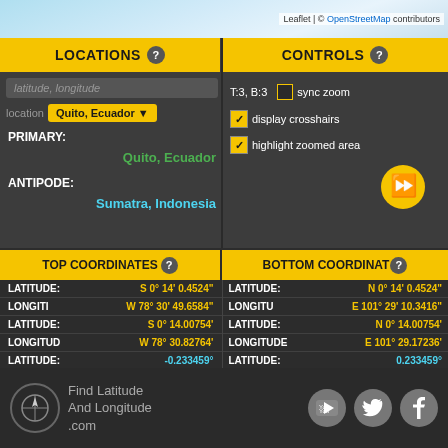[Figure (map): Partial map background (sky/clouds area) at top]
Leaflet | © OpenStreetMap contributors
LOCATIONS ?
CONTROLS ?
latitude, longitude (input placeholder)
location: Quito, Ecuador (dropdown)
PRIMARY:
Quito, Ecuador
ANTIPODE:
Sumatra, Indonesia
T:3, B:3   sync zoom
display crosshairs
highlight zoomed area
TOP COORDINATES ?
BOTTOM COORDINATES ?
| Field | Top Value | Bottom Value |
| --- | --- | --- |
| LATITUDE: | S 0° 14' 0.4524" | N 0° 14' 0.4524" |
| LONGITUDE: | W 78° 30' 49.6584" | E 101° 29' 10.3416" |
| LATITUDE: | S 0° 14.00754' | N 0° 14.00754' |
| LONGITUDE: | W 78° 30.82764' | E 101° 29.17236' |
| LATITUDE: | -0.233459° | 0.233459° |
| LONGITUDE: | -78.513794° | 101.486206° |
Find Latitude And Longitude .com